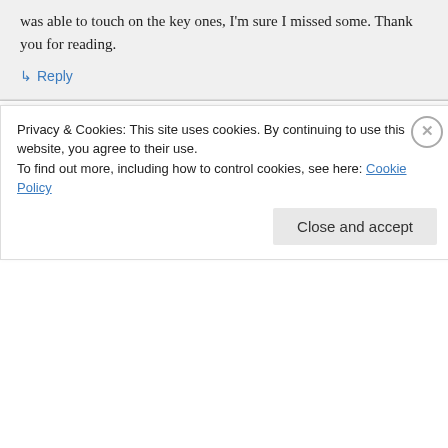was able to touch on the key ones, I'm sure I missed some. Thank you for reading.
↳ Reply
disirdottir on 06/09/2012 at 12:33
“This isn’t just about me saying that this space isn’t open to allies, which it is. It’s more about why did I have so FEW allies at the first PoC Caucus at Pantheacon? Why wasn’t my room
Privacy & Cookies: This site uses cookies. By continuing to use this website, you agree to their use.
To find out more, including how to control cookies, see here: Cookie Policy
Close and accept